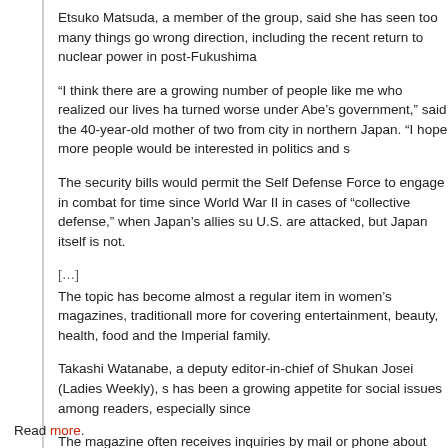Etsuko Matsuda, a member of the group, said she has seen too many things go wrong direction, including the recent return to nuclear power in post-Fukushima
“I think there are a growing number of people like me who realized our lives ha turned worse under Abe’s government,” said the 40-year-old mother of two from city in northern Japan. “I hope more people would be interested in politics and s
The security bills would permit the Self Defense Force to engage in combat for time since World War II in cases of “collective defense,” when Japan’s allies su U.S. are attacked, but Japan itself is not.
[...]
The topic has become almost a regular item in women’s magazines, traditionall more for covering entertainment, beauty, health, food and the Imperial family.
Takashi Watanabe, a deputy editor-in-chief of Shukan Josei (Ladies Weekly), s has been a growing appetite for social issues among readers, especially since
The magazine often receives inquiries by mail or phone about the legislation, s even asking for anti-war rally details, he said.
[...]
Read more.